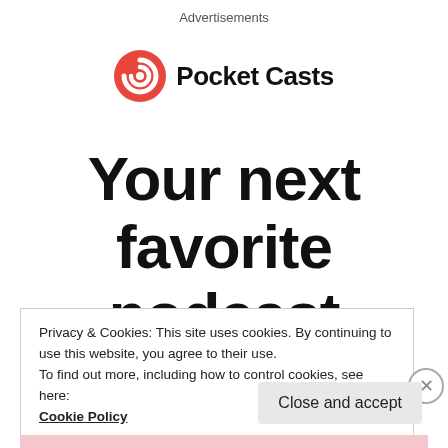Advertisements
[Figure (logo): Pocket Casts logo: red circular icon with white spiral/headphone shape and bold black text 'Pocket Casts']
Your next favorite podcast
Privacy & Cookies: This site uses cookies. By continuing to use this website, you agree to their use.
To find out more, including how to control cookies, see here:
Cookie Policy
Close and accept